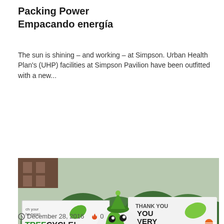Packing Power
Empacando energía
The sun is shining – and working – at Simpson. Urban Health Plan's (UHP) facilities at Simpson Pavilion have been outfitted with a new...
EN ESPAÑOL
Read More »
[Figure (photo): A mascot character dressed as a leaf/bird with green hat, red and white scarf, and yellow boots stands in front of bushes with banners reading 'TREECYCLE!' and 'THANK YOU VERY MULCH.' A 'Green Livin' badge appears in the lower right.]
December 28, 2016  0